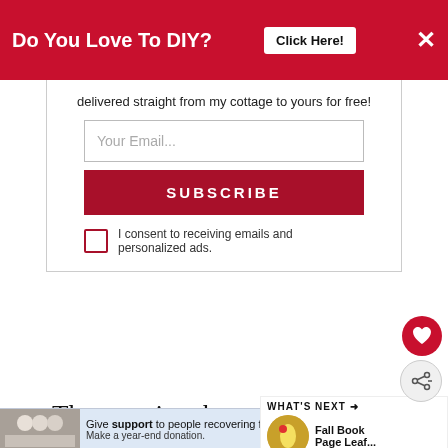Do You Love To DIY?  Click Here!  ×
delivered straight from my cottage to yours for free!
Your Email...
SUBSCRIBE
I consent to receiving emails and personalized ads.
Then to give them a little dimension, I used a thin marker and added ve
WHAT'S NEXT → Fall Book Page Leaf...
Give support to people recovering from crisis. Make a year-end donation.